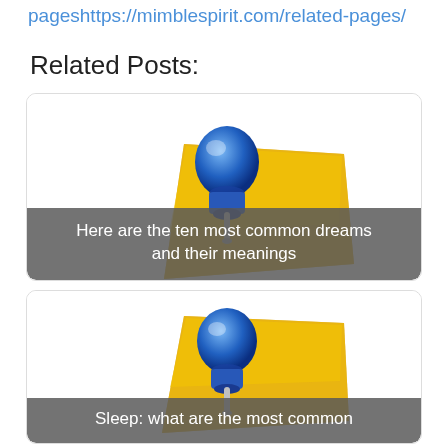pages https://mimblespirit.com/related-pages/
Related Posts:
[Figure (illustration): Blue pushpin stuck into a golden/yellow sticky note or paper, tilted, clip art style illustration]
Here are the ten most common dreams and their meanings
[Figure (illustration): Blue pushpin stuck into a golden/yellow sticky note or paper, tilted, clip art style illustration]
Sleep: what are the most common